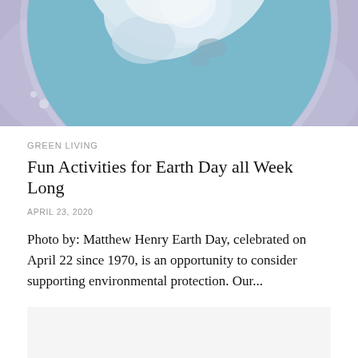[Figure (illustration): Watercolor illustration of Earth globe viewed from above, showing blue oceans and white clouds/ice, surrounded by purple-lavender background. Partial view cropped at top.]
GREEN LIVING
Fun Activities for Earth Day all Week Long
APRIL 23, 2020
Photo by: Matthew Henry Earth Day, celebrated on April 22 since 1970, is an opportunity to consider supporting environmental protection. Our...
[Figure (other): Gray/light advertisement or placeholder box]